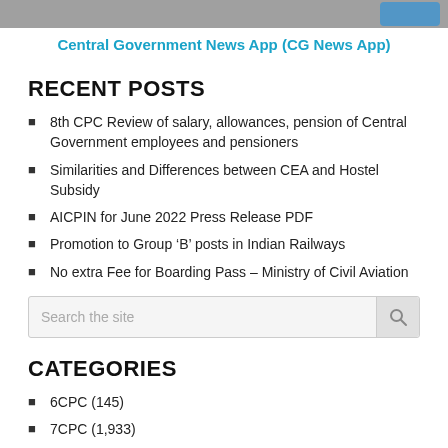[Figure (photo): Top image strip showing partial photo]
Central Government News App (CG News App)
RECENT POSTS
8th CPC Review of salary, allowances, pension of Central Government employees and pensioners
Similarities and Differences between CEA and Hostel Subsidy
AICPIN for June 2022 Press Release PDF
Promotion to Group ‘B’ posts in Indian Railways
No extra Fee for Boarding Pass – Ministry of Civil Aviation
CATEGORIES
6CPC (145)
7CPC (1,933)